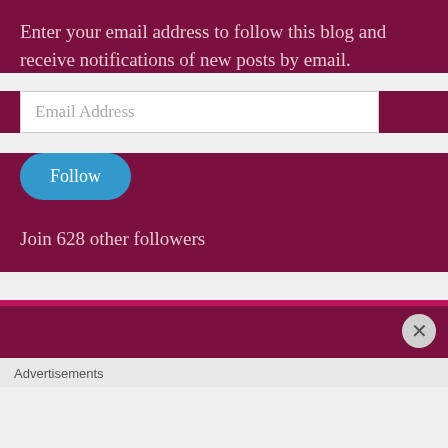Enter your email address to follow this blog and receive notifications of new posts by email.
[Figure (other): Email address input field with placeholder text 'Email Address']
[Figure (other): Blue rounded Follow button]
Join 628 other followers
[Figure (other): Dark magenta/maroon section with pink top bar and X close button overlay]
Advertisements